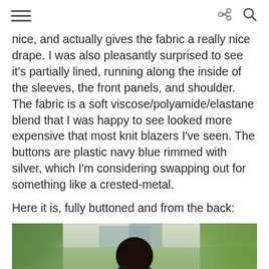[hamburger menu] [share icon] [search icon]
nice, and actually gives the fabric a really nice drape. I was also pleasantly surprised to see it's partially lined, running along the inside of the sleeves, the front panels, and shoulder. The fabric is a soft viscose/polyamide/elastane blend that I was happy to see looked more expensive that most knit blazers I've seen. The buttons are plastic navy blue rimmed with silver, which I'm considering swapping out for something like a crested-metal.

Here it is, fully buttoned and from the back:
[Figure (photo): Photo of a person from the back, showing dark curly hair, wearing what appears to be a dark blazer. The background shows green foliage and a building.]